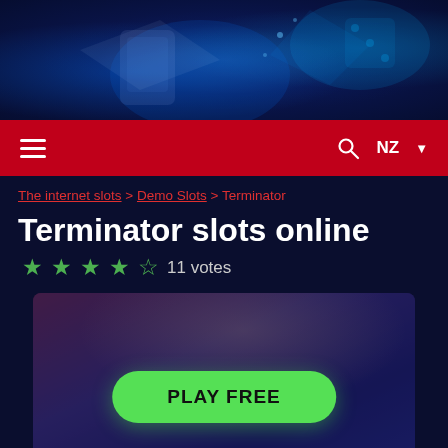[Figure (illustration): Casino banner with glowing blue light effects, dice and playing cards imagery on dark blue background]
[Figure (screenshot): Red navigation bar with hamburger menu icon on left, search icon and NZ country selector with dropdown caret on right]
The internet slots > Demo Slots > Terminator
Terminator slots online
★★★★☆ 11 votes
[Figure (illustration): Terminator slot game preview image showing a humanoid figure face in blue/purple tones with a large green PLAY FREE button and TERMINATOR text at the bottom]